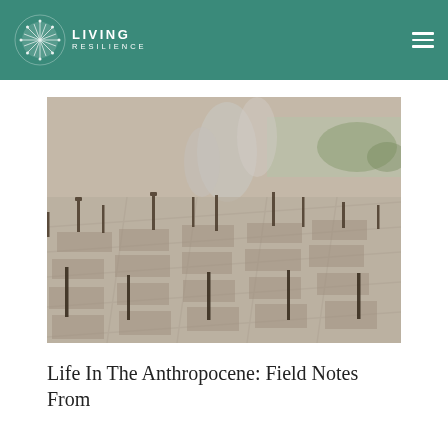[Figure (logo): Living Resilience logo with circular dandelion/globe icon and text 'LIVING RESILIENCE' on teal/green header bar with hamburger menu icon on right]
[Figure (photo): Aerial photograph of a neighborhood devastated by wildfire, showing burned-out ruins of homes with ash and debris, charred trees still standing, smoke rising in background, and an unaffected urban area visible in the far distance]
Life In The Anthropocene: Field Notes From